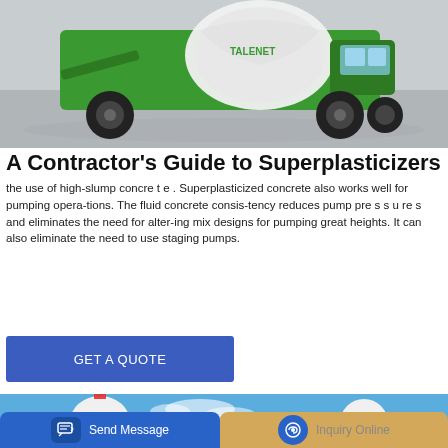[Figure (photo): A green self-loading concrete mixer truck on a road, partially cropped, with a white revolving drum labeled TALENET]
A Contractor's Guide to Superplasticizers
the use of high-slump concre t e . Superplasticized concrete also works well for pumping opera-tions. The fluid concrete consis-tency reduces pump pre s s u re s and eliminates the need for alter-ing mix designs for pumping great heights. It can also eliminate the need to use staging pumps.
GET A QUOTE
[Figure (photo): White cylindrical industrial silos with Chinese text and flags on top against a blue sky background]
Send Message
Inquiry Online